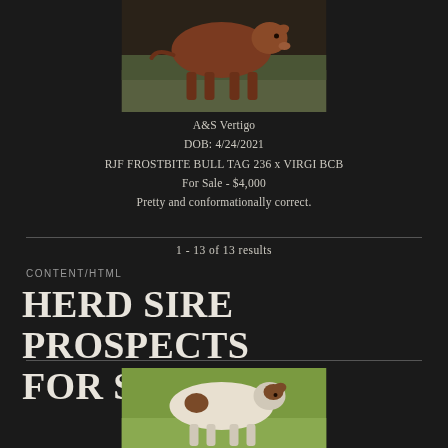[Figure (photo): Brown/red calf standing in a field, dark background at top of page]
A&S Vertigo
DOB: 4/24/2021
RJF FROSTBITE BULL TAG 236 x VIRGI BCB
For Sale - $4,000
Pretty and conformationally correct.
1 - 13 of 13 results
CONTENT/HTML
HERD SIRE PROSPECTS FOR SALE
[Figure (photo): White and brown calf standing on green grass, partially visible at bottom of page]